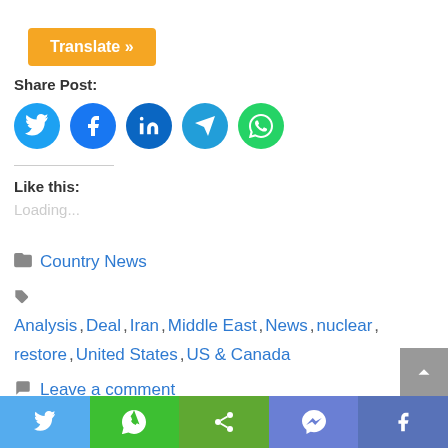[Figure (screenshot): Orange Translate button with white bold text 'Translate »']
Share Post:
[Figure (infographic): Row of five colored circular social share icons: Twitter (light blue), Facebook (blue), LinkedIn (dark blue), Telegram (blue), WhatsApp (green)]
Like this:
Loading...
Country News
Analysis, Deal, Iran, Middle East, News, nuclear, restore, United States, US & Canada
Leave a comment
[Figure (screenshot): Bottom share bar with five buttons: Twitter (light blue), WhatsApp (green), Share (olive green), Messenger (purple-blue), Facebook (blue-purple), each with white icons]